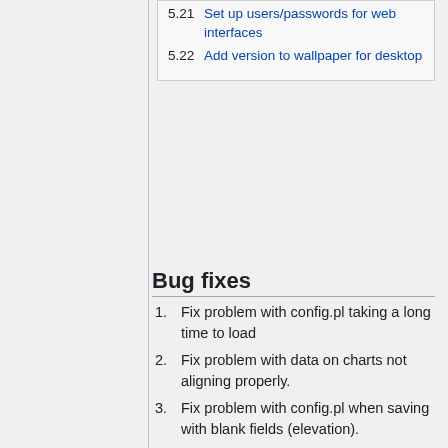5.21  Set up users/passwords for web interfaces
5.22  Add version to wallpaper for desktop
Bug fixes
1. Fix problem with config.pl taking a long time to load
2. Fix problem with data on charts not aligning properly.
3. Fix problem with config.pl when saving with blank fields (elevation).
4. Fix problem with weather station temp and dew point dropping negative signs (not parsing correctly in hive.sh).
add -E to grep command and \-? to regex.